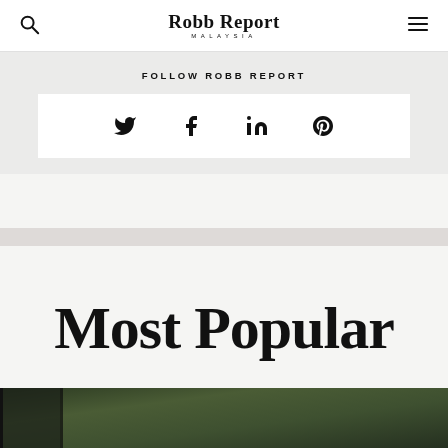Robb Report MALAYSIA
FOLLOW ROBB REPORT
[Figure (infographic): Social media icons row: Twitter, Facebook, LinkedIn, Pinterest on white background bar]
Most Popular
[Figure (photo): Partial photo of a building exterior with dark window frames and green foliage/plants visible at the bottom of the page]